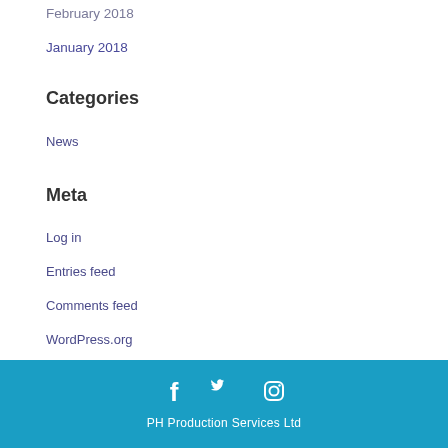February 2018
January 2018
Categories
News
Meta
Log in
Entries feed
Comments feed
WordPress.org
[Figure (illustration): Social media icons: Facebook, Twitter, Instagram in white on teal background]
PH Production Services Ltd